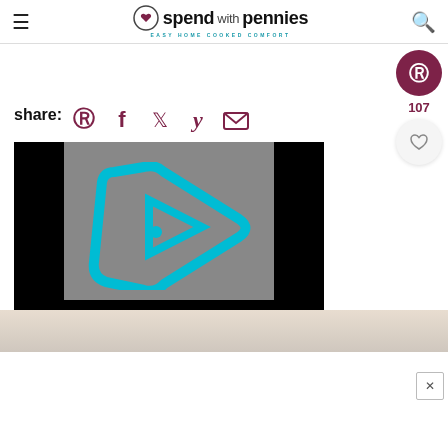spend with pennies — EASY HOME COOKED COMFORT
share:
[Figure (logo): Social share icons: Pinterest, Facebook, Twitter, Yummly, Email]
[Figure (screenshot): Video player with cyan play button logo on gray background, black bars on sides]
[Figure (photo): Bottom image strip in beige/tan tones]
[Figure (illustration): Pinterest floating button (dark red/maroon circle with P icon), count 107, and heart/favorite button below]